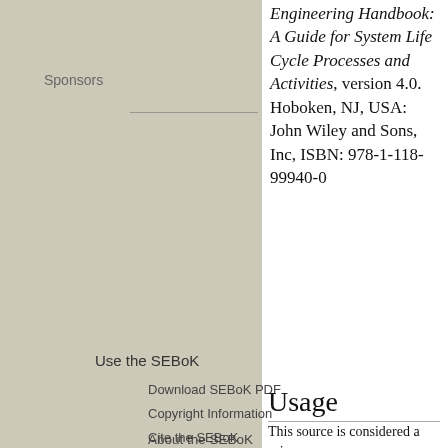Sponsors
Engineering Handbook: A Guide for System Life Cycle Processes and Activities, version 4.0. Hoboken, NJ, USA: John Wiley and Sons, Inc, ISBN: 978-1-118-99940-0
Use the SEBoK
Download SEBoK PDF
Copyright Information
Cite the SEBoK
About the SEBoK
Usage
This source is considered a primary